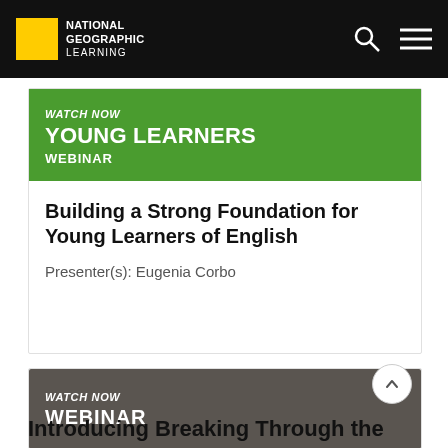NATIONAL GEOGRAPHIC LEARNING
[Figure (screenshot): Green banner reading WATCH NOW / YOUNG LEARNERS / WEBINAR]
Building a Strong Foundation for Young Learners of English
Presenter(s): Eugenia Corbo
[Figure (screenshot): Gray banner reading WATCH NOW / WEBINAR]
Introducing Breaking Through the